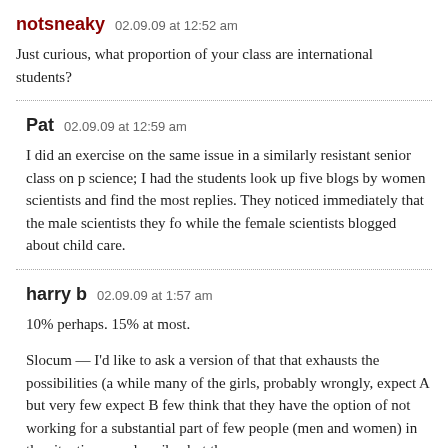notsneaky   02.09.09 at 12:52 am
Just curious, what proportion of your class are international students?
Pat   02.09.09 at 12:59 am
I did an exercise on the same issue in a similarly resistant senior class on p science; I had the students look up five blogs by women scientists and find the most replies. They noticed immediately that the male scientists they fo while the female scientists blogged about child care.
harry b   02.09.09 at 1:57 am
10% perhaps. 15% at most.
Slocum — I'd like to ask a version of that that exhausts the possibilities (a while many of the girls, probably wrongly, expect A but very few expect B few think that they have the option of not working for a substantial part of few people (men and women) in the situation you describe, but they are no